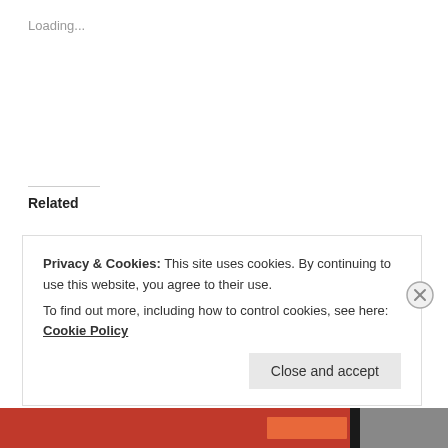Loading...
Related
Sunshine Blogger Award
3 May 2019
In "Awards"
Versatile Blogger Award
14 May 2019
In "Awards"
Versatile Blogger Award
8 Apr 2019
In "Awards"
Privacy & Cookies: This site uses cookies. By continuing to use this website, you agree to their use.
To find out more, including how to control cookies, see here: Cookie Policy
Close and accept